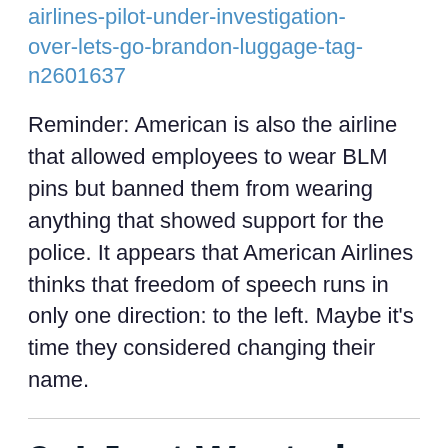airlines-pilot-under-investigation-over-lets-go-brandon-luggage-tag-n2601637
Reminder: American is also the airline that allowed employees to wear BLM pins but banned them from wearing anything that showed support for the police. It appears that American Airlines thinks that freedom of speech runs in only one direction: to the left. Maybe it’s time they considered changing their name.
9. I Just Wanted